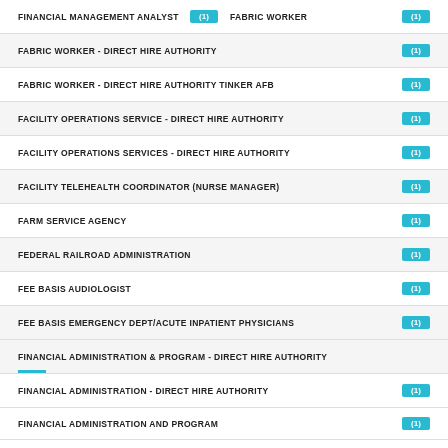FINANCIAL MANAGEMENT ANALYST (1)   FABRIC WORKER (1)
FABRIC WORKER - DIRECT HIRE AUTHORITY (1)
FABRIC WORKER - DIRECT HIRE AUTHORITY TINKER AFB (1)
FACILITY OPERATIONS SERVICE - DIRECT HIRE AUTHORITY (1)
FACILITY OPERATIONS SERVICES - DIRECT HIRE AUTHORITY (1)
FACILITY TELEHEALTH COORDINATOR (NURSE MANAGER) (1)
FARM SERVICE AGENCY (1)
FEDERAL RAILROAD ADMINISTRATION (1)
FEE BASIS AUDIOLOGIST (1)
FEE BASIS EMERGENCY DEPT/ACUTE INPATIENT PHYSICIANS (1)
FINANCIAL ADMINISTRATION & PROGRAM - DIRECT HIRE AUTHORITY
FINANCIAL ADMINISTRATION - DIRECT HIRE AUTHORITY (1)
FINANCIAL ADMINISTRATION AND PROGRAM (1)